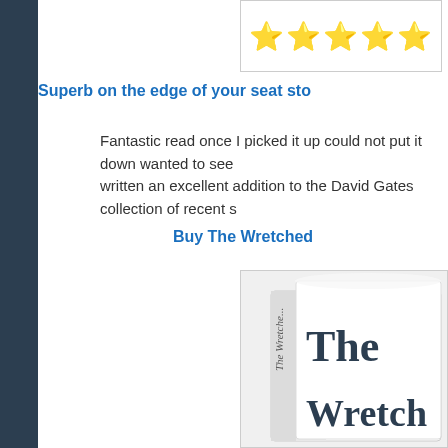[Figure (other): Five gold star rating displayed in a bordered box]
Superb on the edge of your seat sto...
Fantastic read once I picked it up could not put it down wanted to see... written an excellent addition to the David Gates collection of recent s...
Buy The Wretched
[Figure (photo): Book cover image of 'The Wretched' showing the spine and front cover with large serif text]